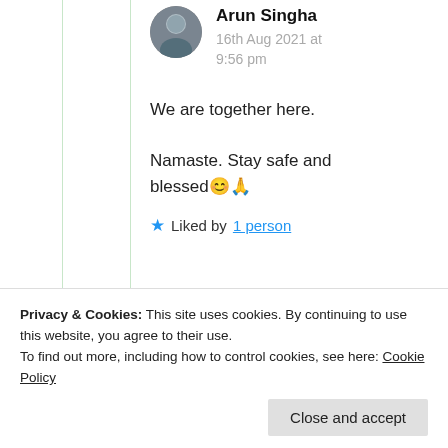Arun Singha
16th Aug 2021 at 9:56 pm
We are together here.
Namaste. Stay safe and blessed😊🙏
★ Liked by 1 person
Privacy & Cookies: This site uses cookies. By continuing to use this website, you agree to their use.
To find out more, including how to control cookies, see here: Cookie Policy
Close and accept
Yes Sir, thank you for